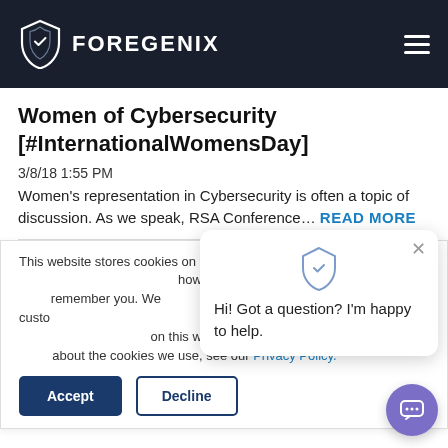FOREGENIX
Women of Cybersecurity [#InternationalWomensDay]
3/8/18 1:55 PM
Women's representation in Cybersecurity is often a topic of discussion. As we speak, RSA Conference… READ MORE
This website stores cookies on your computer. These cookies are used to collect information about how you interact with our website and allow us to remember you. We use this information in order to improve and customise your browsing experience and for analytics and metrics about our visitors both on this website and other media. To find out more about the cookies we use, see our Privacy Policy.
Hi! Got a question? I'm happy to help.